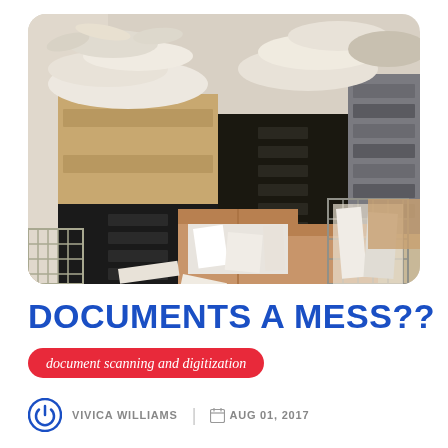[Figure (photo): A cluttered storage room with tall black flat-file map drawers overflowing with rolled paper documents and miscellaneous items stacked on top, along with cardboard boxes and various disorganized materials on the floor.]
DOCUMENTS A MESS??
document scanning and digitization
VIVICA WILLIAMS | AUG 01, 2017